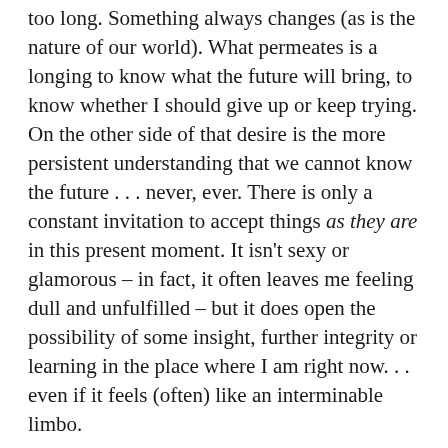too long. Something always changes (as is the nature of our world). What permeates is a longing to know what the future will bring, to know whether I should give up or keep trying. On the other side of that desire is the more persistent understanding that we cannot know the future . . . never, ever. There is only a constant invitation to accept things as they are in this present moment. It isn't sexy or glamorous – in fact, it often leaves me feeling dull and unfulfilled – but it does open the possibility of some insight, further integrity or learning in the place where I am right now. . . even if it feels (often) like an interminable limbo.
It has taken me more than two months to finish this post. Just the thought of coming here, of taking up this subject again, of completing my half-formed thoughts has caused feelings of lethargy, confusion and sadness. I'm not entirely sure why that is. I don't know if it has to do with being ashamed of revealing some of these things about my